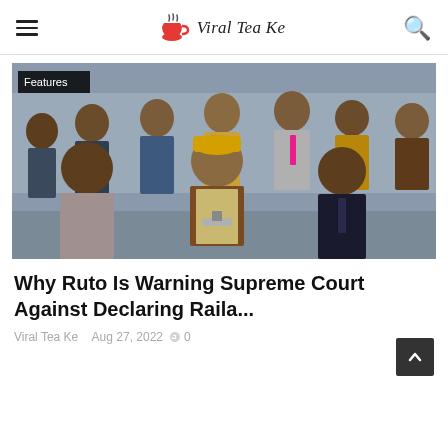Viral Tea Ke
[Figure (photo): Group of men standing outdoors, one man in yellow cap and brown vest speaking at a podium with microphones, surrounded by other men in suits and casual clothing.]
Why Ruto Is Warning Supreme Court Against Declaring Raila...
Viral Tea Ke   Aug 27, 2022   0